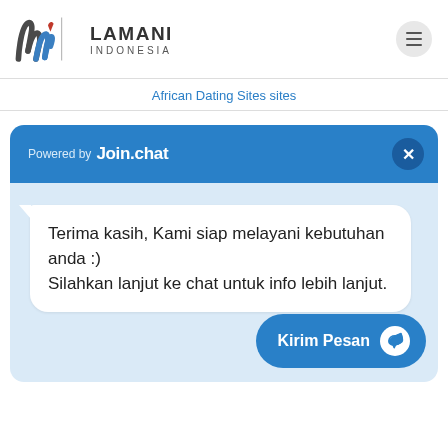[Figure (logo): Lamani Indonesia logo with stylized LW mark and vertical divider]
African Dating Sites sites
[Figure (screenshot): Join.chat powered chat widget header with close button]
Terima kasih, Kami siap melayani kebutuhan anda :) Silahkan lanjut ke chat untuk info lebih lanjut.
Kirim Pesan